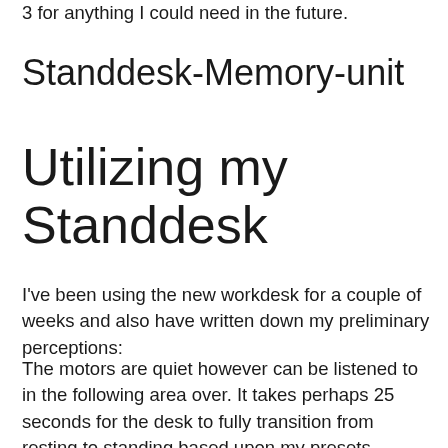3 for anything I could need in the future.
Standdesk-Memory-unit
Utilizing my Standdesk
I've been using the new workdesk for a couple of weeks and also have written down my preliminary perceptions:
The motors are quiet however can be listened to in the following area over. It takes perhaps 25 seconds for the desk to fully transition from resting to standing based upon my presets.